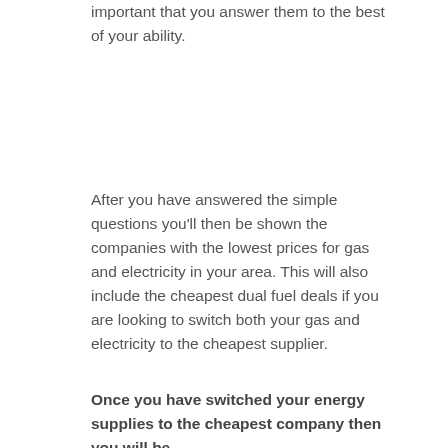important that you answer them to the best of your ability.
After you have answered the simple questions you'll then be shown the companies with the lowest prices for gas and electricity in your area. This will also include the cheapest dual fuel deals if you are looking to switch both your gas and electricity to the cheapest supplier.
Once you have switched your energy supplies to the cheapest company then you will be